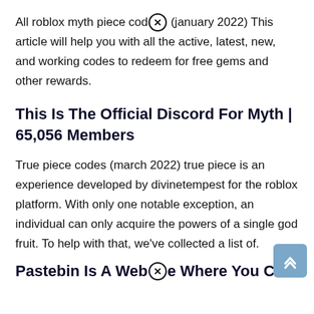All roblox myth piece codes (january 2022) This article will help you with all the active, latest, new, and working codes to redeem for free gems and other rewards.
This Is The Official Discord For Myth | 65,056 Members
True piece codes (march 2022) true piece is an experience developed by divinetempest for the roblox platform. With only one notable exception, an individual can only acquire the powers of a single god fruit. To help with that, we've collected a list of.
Pastebin Is A Website Where You Can